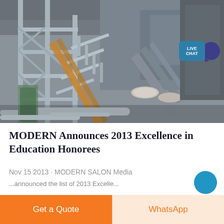[Figure (photo): Industrial machinery photograph showing metal scaffolding, conveyor belts, and structural steel framework inside a factory or industrial facility. A 'LIVE CHAT' badge appears in the upper right corner of the image.]
MODERN Announces 2013 Excellence in Education Honorees
Nov 15 2013 · MODERN SALON Media
...announced the list of 2013 Excelle...
Get a Quote
WhatsApp